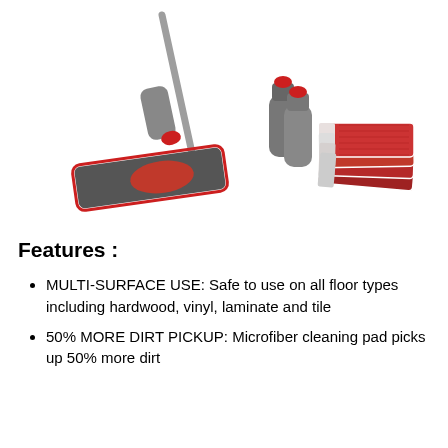[Figure (photo): Product photo of a spray mop kit with grey and red handle, red trigger mechanism, two grey spray bottles with red caps, and four stacked red microfiber cleaning pads. The mop head is rectangular with a scrubbing pad attachment.]
Features :
MULTI-SURFACE USE: Safe to use on all floor types including hardwood, vinyl, laminate and tile
50% MORE DIRT PICKUP: Microfiber cleaning pad picks up 50% more dirt